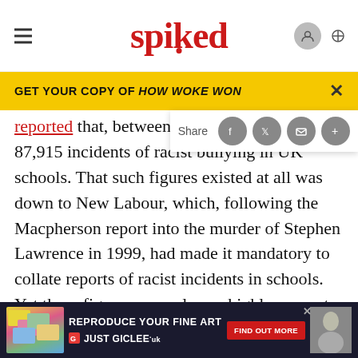spiked
GET YOUR COPY OF HOW WOKE WON
reported that, between 2007 and 87,915 incidents of racist bullying in UK schools. That such figures existed at all was down to New Labour, which, following the Macpherson report into the murder of Stephen Lawrence in 1999, had made it mandatory to collate reports of racist incidents in schools. Yet these figures were always highly suspect. In 2009, the Manifesto Club published a report entitled The Myth of Racist Kids, which argued that a lot of...ightful ABOUT...
[Figure (screenshot): Advertisement banner: REPRODUCE YOUR FINE ART - JUST GICLEE. Dark background with colorful sticky notes image on left and portrait photo on right.]